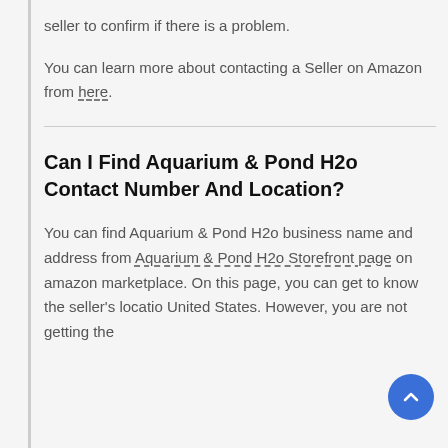don't hesitate to get in touch with the Amazon seller to confirm if there is a problem.
You can learn more about contacting a Seller on Amazon from here.
Can I Find Aquarium & Pond H2o Contact Number And Location?
You can find Aquarium & Pond H2o business name and address from Aquarium & Pond H2o Storefront page on amazon marketplace. On this page, you can get to know the seller's location United States. However, you are not getting the